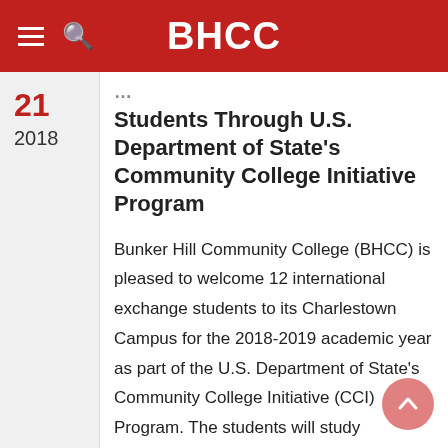BHCC
Students Through U.S. Department of State's Community College Initiative Program
Bunker Hill Community College (BHCC) is pleased to welcome 12 international exchange students to its Charlestown Campus for the 2018-2019 academic year as part of the U.S. Department of State's Community College Initiative (CCI) Program. The students will study